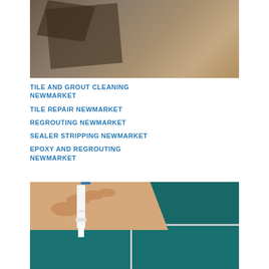[Figure (photo): Close-up photo of a damaged or cracked tile being removed or repaired, showing a dark broken tile on a sandy/concrete substrate with a tool visible at top.]
TILE AND GROUT CLEANING NEWMARKET
TILE REPAIR NEWMARKET
REGROUTING NEWMARKET
SEALER STRIPPING NEWMARKET
EPOXY AND REGROUTING NEWMARKET
[Figure (photo): Photo of a hand holding a white grout float or spreader tool applying grout between dark teal/green tiles arranged in a grid pattern.]